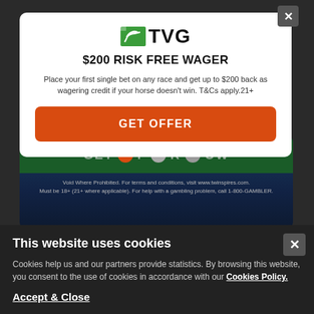[Figure (logo): TVG logo with green horse racing icon and bold TVG text]
$200 RISK FREE WAGER
Place your first single bet on any race and get up to $200 back as wagering credit if your horse doesn't win. T&Cs apply.21+
GET OFFER
[Figure (screenshot): Dark banner with GET FOR NOW text and colored dots (orange, gray, gray) on green strip, with TwinSpires disclaimer text below]
This website uses cookies
Cookies help us and our partners provide statistics. By browsing this website, you consent to the use of cookies in accordance with our Cookies Policy.
Accept & Close